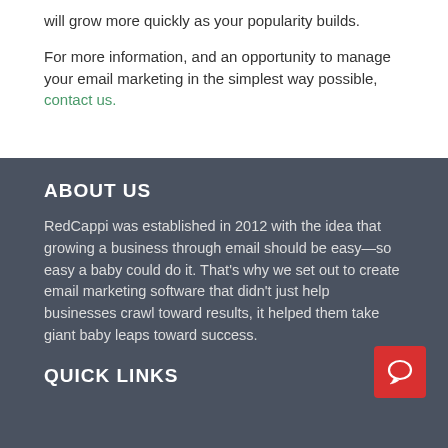will grow more quickly as your popularity builds.
For more information, and an opportunity to manage your email marketing in the simplest way possible, contact us.
ABOUT US
RedCappi was established in 2012 with the idea that growing a business through email should be easy—so easy a baby could do it. That's why we set out to create email marketing software that didn't just help businesses crawl toward results, it helped them take giant baby leaps toward success.
QUICK LINKS